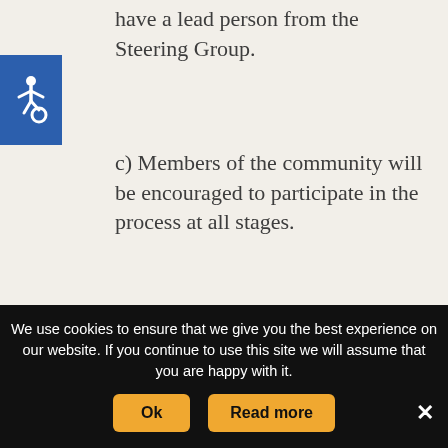have a lead person from the Steering Group.
c) Members of the community will be encouraged to participate in the process at all stages.
[Figure (logo): Blue accessibility wheelchair icon in a blue square]
9. Finance
a) All grants and funding will be applied for and held by the Parish Council, who will ring-fence the funds for
We use cookies to ensure that we give you the best experience on our website. If you continue to use this site we will assume that you are happy with it.